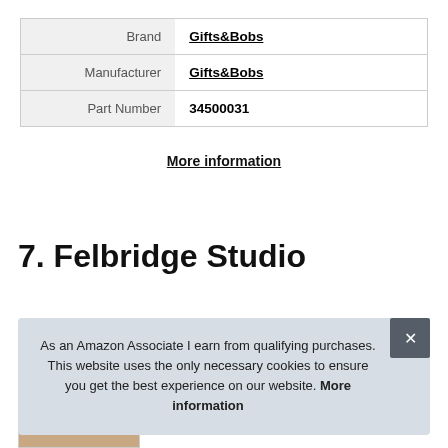|  |  |
| --- | --- |
| Brand | Gifts&Bobs |
| Manufacturer | Gifts&Bobs |
| Part Number | 34500031 |
More information
7. Felbridge Studio
As an Amazon Associate I earn from qualifying purchases. This website uses the only necessary cookies to ensure you get the best experience on our website. More information